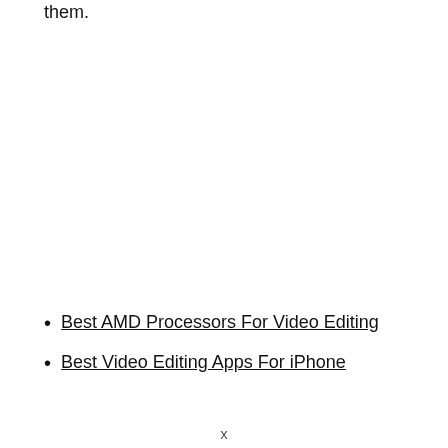them.
Best AMD Processors For Video Editing
Best Video Editing Apps For iPhone
x